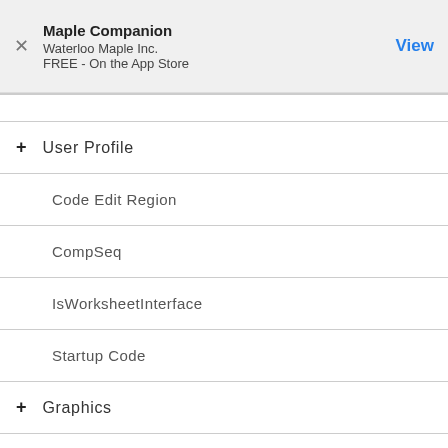[Figure (screenshot): App Store banner for Maple Companion by Waterloo Maple Inc., FREE on the App Store, with a close (X) button and a blue View button]
+ User Profile
Code Edit Region
CompSeq
IsWorksheetInterface
Startup Code
+ Graphics
+ Science and Engineering
+ Applications and Example Worksheets
+ Math Apps